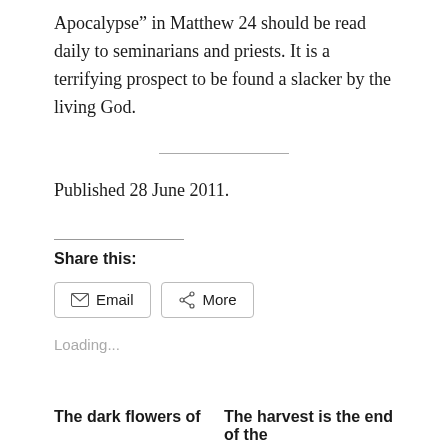Apocalypse” in Matthew 24 should be read daily to seminarians and priests. It is a terrifying prospect to be found a slacker by the living God.
Published 28 June 2011.
Share this:
Loading...
The dark flowers of
The harvest is the end of the